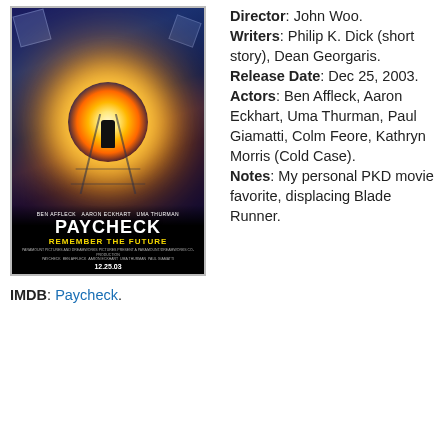[Figure (photo): Movie poster for Paycheck (2003) showing a figure silhouetted against a bright explosion/light burst with puzzle pieces flying around in a dark blue sci-fi setting. Cast names Ben Affleck, Aaron Eckhart, Uma Thurman shown at top, large title PAYCHECK and tagline REMEMBER THE FUTURE at bottom, release date 12.25.03.]
Director: John Woo. Writers: Philip K. Dick (short story), Dean Georgaris. Release Date: Dec 25, 2003. Actors: Ben Affleck, Aaron Eckhart, Uma Thurman, Paul Giamatti, Colm Feore, Kathryn Morris (Cold Case). Notes: My personal PKD movie favorite, displacing Blade Runner.
IMDB: Paycheck.